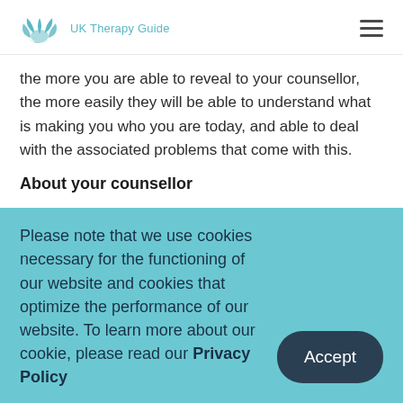UK Therapy Guide
the more you are able to reveal to your counsellor, the more easily they will be able to understand what is making you who you are today, and able to deal with the associated problems that come with this.
About your counsellor
Your counsellor will have been involved in an in-depth study and training of Jungian analysis in order to gain a deep understanding of both the psychoanalysis and
Please note that we use cookies necessary for the functioning of our website and cookies that optimize the performance of our website. To learn more about our cookie, please read our Privacy Policy